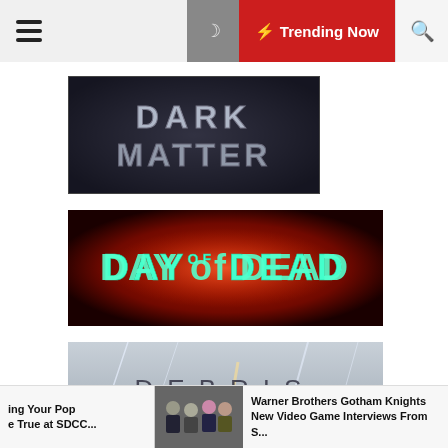☰ 🌙 ⚡ Trending Now 🔍
[Figure (photo): Dark Matter TV show logo — metallic silver text on dark background reading DARK MATTER]
[Figure (photo): Day of the Dead TV show title card — cyan/green text on red glowing background reading DAY OF THE DEAD]
[Figure (photo): Debris TV show logo — thin dark text on light gray background with light streaks reading DEBRIS]
ing Your Pop e True at SDCC...
[Figure (photo): Group photo of people at an event]
Warner Brothers Gotham Knights New Video Game Interviews From S...